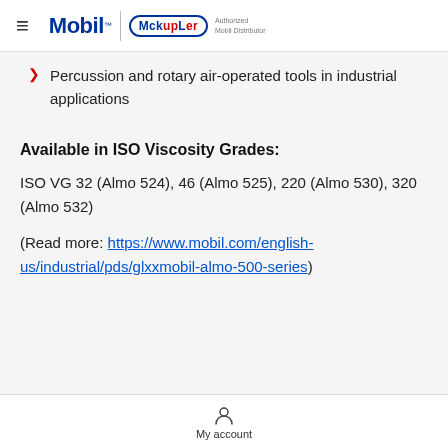Mobil | MckupLer Authorized Mobil Distributor
Percussion and rotary air-operated tools in industrial applications
Available in ISO Viscosity Grades:
ISO VG 32 (Almo 524), 46 (Almo 525), 220 (Almo 530), 320 (Almo 532)
(Read more: https://www.mobil.com/english-us/industrial/pds/glxxmobil-almo-500-series)
My account